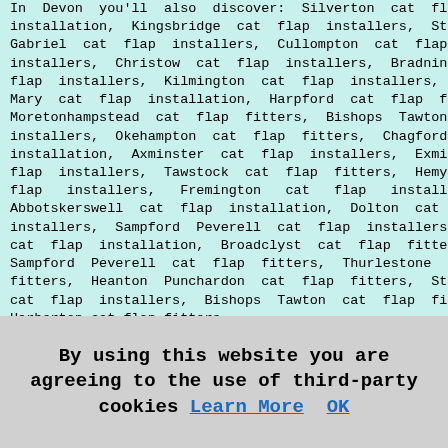In Devon you'll also discover: Silverton cat flap installation, Kingsbridge cat flap installers, Stoke Gabriel cat flap installers, Cullompton cat flap installers, Christow cat flap installers, Bradninch cat flap installers, Kilmington cat flap installers, Tedburn St Mary cat flap installation, Harpford cat flap fitters, Moretonhampstead cat flap fitters, Bishops Tawton cat flap installers, Okehampton cat flap fitters, Chagford cat flap installation, Axminster cat flap installers, Exminster cat flap installers, Tawstock cat flap fitters, Hemyock cat flap installers, Fremington cat flap installation, Abbotskerswell cat flap installation, Dolton cat flap installers, Sampford Peverell cat flap installers, Lynton cat flap installation, Broadclyst cat flap fitters, Sampford Peverell cat flap fitters, Thurlestone cat flap fitters, Heanton Punchardon cat flap fitters, Stoke Fleming cat flap installers, Bishops Tawton cat flap fitters, Harberton cat flap fitters.
All throughout Devon you should be able to find cat flap fitters who'll offer various services for your pet's needs. If you can't find a specialist cat flap fitter in Ivybridge itself then you will surely be able to uncover one nearby.
By using this website you are agreeing to the use of third-party cookies Learn More OK